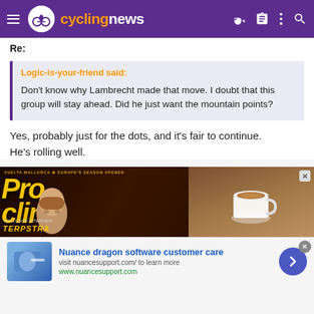cyclingnews
Re:
Logic-is-your-friend said:
Don't know why Lambrecht made that move. I doubt that this group will stay ahead. Did he just want the mountain points?
Yes, probably just for the dots, and it's fair to continue. He's rolling well.
[Figure (screenshot): Advertisement banner for ProCycling magazine showing a magazine cover with yellow text and a cyclist's face, alongside a coffee cup on a wooden table]
[Figure (screenshot): Bottom advertisement bar for Nuance dragon software customer care with blue image, title, description and arrow button]